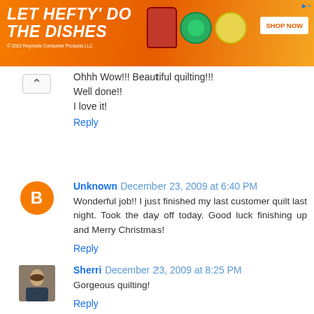[Figure (other): Hefty ad banner: LET HEFTY DO THE DISHES with product images and SHOP NOW button]
Ohhh Wow!!! Beautiful quilting!!!
Well done!!
I love it!
Reply
Unknown December 23, 2009 at 6:40 PM
Wonderful job!! I just finished my last customer quilt last night. Took the day off today. Good luck finishing up and Merry Christmas!
Reply
Sherri December 23, 2009 at 8:25 PM
Gorgeous quilting!
Reply